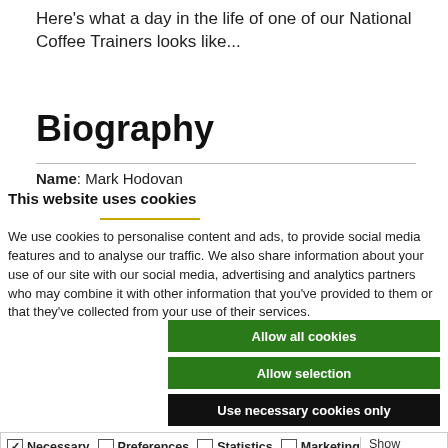Here's what a day in the life of one of our National Coffee Trainers looks like...
Biography
Name: Mark Hodovan
This website uses cookies
We use cookies to personalise content and ads, to provide social media features and to analyse our traffic. We also share information about your use of our site with our social media, advertising and analytics partners who may combine it with other information that you've provided to them or that they've collected from your use of their services.
Allow all cookies
Allow selection
Use necessary cookies only
Necessary  Preferences  Statistics  Marketing  Show details